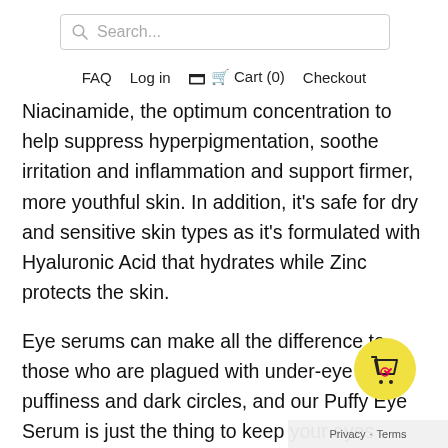[Figure (screenshot): Search bar input field with magnifying glass icon and placeholder text 'Search...']
FAQ  Log in  Cart (0)  Checkout
Niacinamide, the optimum concentration to help suppress hyperpigmentation, soothe irritation and inflammation and support firmer, more youthful skin. In addition, it’s safe for dry and sensitive skin types as it’s formulated with Hyaluronic Acid that hydrates while Zinc protects the skin.
Eye serums can make all the difference to those who are plagued with under-eye bags, puffiness and dark circles, and our Puffy Eye Serum is just the thing to keep your eyes looking youthful during the winter. Formulated with Plant Collagen